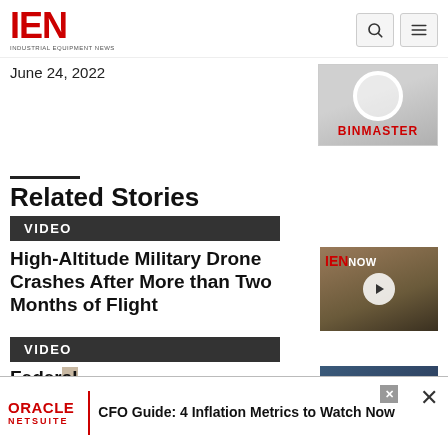IEN INDUSTRIAL EQUIPMENT NEWS
June 24, 2022
[Figure (photo): BinMaster advertisement thumbnail with circular graphic and red BinMaster logo]
Related Stories
VIDEO
High-Altitude Military Drone Crashes After More than Two Months of Flight
[Figure (screenshot): IEN NOW video thumbnail showing drone-related image with play button overlay]
VIDEO
Feder... Pharma... Manufacturer...
[Figure (photo): Video thumbnail for second story]
[Figure (other): Oracle NetSuite advertisement banner: CFO Guide: 4 Inflation Metrics to Watch Now]